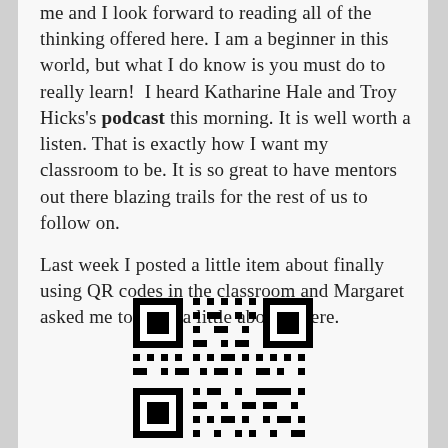me and I look forward to reading all of the thinking offered here. I am a beginner in this world, but what I do know is you must do to really learn!  I heard Katharine Hale and Troy Hicks's podcast this morning. It is well worth a listen. That is exactly how I want my classroom to be. It is so great to have mentors out there blazing trails for the rest of us to follow on.

Last week I posted a little item about finally using QR codes in the classroom and Margaret asked me to write a little about it here.
[Figure (other): A QR code image shown partially at the bottom of the page]